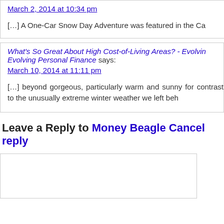March 2, 2014 at 10:34 pm
[…] A One-Car Snow Day Adventure was featured in the Ca
What's So Great About High Cost-of-Living Areas? - Evolving Personal Finance says:
March 10, 2014 at 11:11 pm
[…] beyond gorgeous, particularly warm and sunny for contrast to the unusually extreme winter weather we left beh
Leave a Reply to Money Beagle Cancel reply